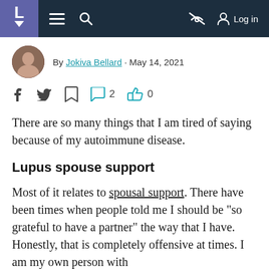L [menu] [search] [no-eye] Log in
By Jokiva Bellard · May 14, 2021
[Figure (infographic): Social sharing icons: Facebook, Twitter, bookmark, comment (2), thumbs up (0)]
There are so many things that I am tired of saying because of my autoimmune disease.
Lupus spouse support
Most of it relates to spousal support. There have been times when people told me I should be "so grateful to have a partner" the way that I have. Honestly, that is completely offensive at times. I am my own person with